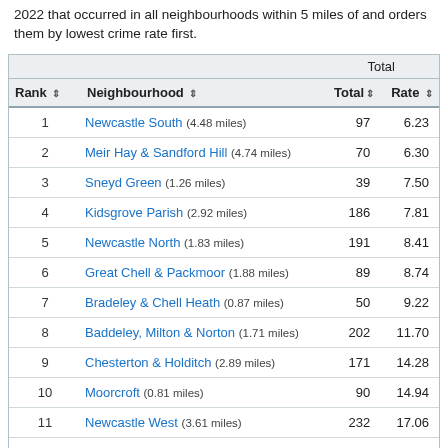2022 that occurred in all neighbourhoods within 5 miles of and orders them by lowest crime rate first.
| Rank | Neighbourhood | Total | Rate |
| --- | --- | --- | --- |
| 1 | Newcastle South (4.48 miles) | 97 | 6.23 |
| 2 | Meir Hay & Sandford Hill (4.74 miles) | 70 | 6.30 |
| 3 | Sneyd Green (1.26 miles) | 39 | 7.50 |
| 4 | Kidsgrove Parish (2.92 miles) | 186 | 7.81 |
| 5 | Newcastle North (1.83 miles) | 191 | 8.41 |
| 6 | Great Chell & Packmoor (1.88 miles) | 89 | 8.74 |
| 7 | Bradeley & Chell Heath (0.87 miles) | 50 | 9.22 |
| 8 | Baddeley, Milton & Norton (1.71 miles) | 202 | 11.70 |
| 9 | Chesterton & Holditch (2.89 miles) | 171 | 14.28 |
| 10 | Moorcroft (0.81 miles) | 90 | 14.94 |
| 11 | Newcastle West (3.61 miles) | 232 | 17.06 |
| 12 | Bentilee & Ubberley (4.01 miles) | 184 | 17.08 |
| 13 | Burslem Park (0.00 miles) | 98 | 17.60 |